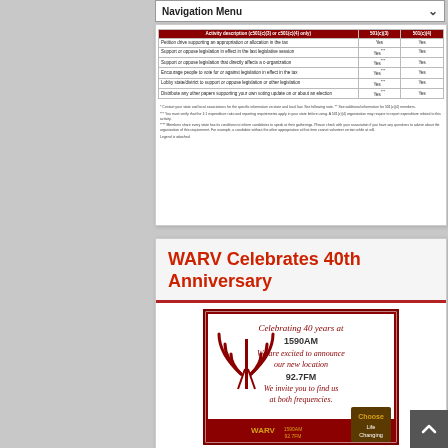Navigation Menu
| Activity description (c501(c)(3) or c501(c)(4) only) | 501(c)(3) | 501(c)(4) |
| --- | --- | --- |
| Petition drive supporting an appropriation or allocation in the tax | Yes | Yes |
| Support or oppose legislation in effect in the last legislative session | Yes*** | Yes |
| Support or oppose legislation that directly affects a c-organization | Yes*** | Yes |
| Encourage people to vote for or against legislation in effect in the tax | Yes*** | Yes |
| Lobby state/district to support or oppose legislation or other legislation | Yes*** | Yes |
| Distribute any other papers supporting your own voting update on or about an election | Yes*** | Yes |
* Contact your state and local associations for the specific information on state and local law. See following note. ** See additional information for 501(c)(4) members.
*** You must verify that the 1:1 expenditure ratio and reporting requirements apply in your state before using. A 501(c)(4) organization may require to report expenditure related to this activity.
**** Members share every state has its conditions to inform candidates to speak at their gatherings. Please check with your association if you have any questions to advise about the organization of this requirement. For example, a candidate without the other appropriation at that time cannot volunteer certain while at will.
Legend is attached.
WARV Celebrates 40th Anniversary
[Figure (illustration): WARV radio station 40th anniversary promotional graphic. Dark red/maroon border with text 'Celebrating 40 years at 1590 AM', 'We are excited to announce our new location', '92.7FM', 'We invite you to find us at both frequencies'. Features radio tower/signal icon on left side, WARV logo at bottom, and 'Choose Life Changing' badge on right.]